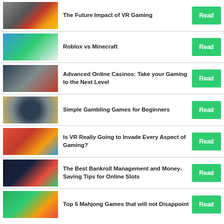The Future Impact of VR Gaming
Roblox vs Minecraft
Advanced Online Casinos: Take your Gaming to the Next Level
Simple Gambling Games for Beginners
Is VR Really Going to Invade Every Aspect of Gaming?
The Best Bankroll Management and Money-Saving Tips for Online Slots
Top 5 Mahjong Games that will not Disappoint